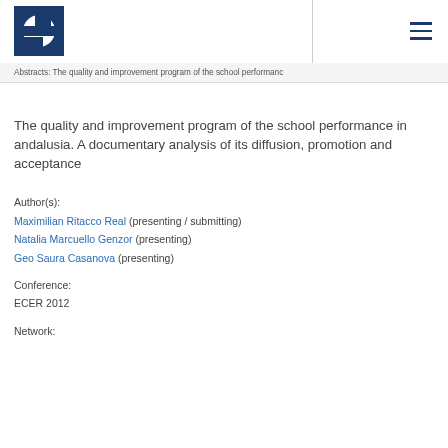[Figure (logo): ECER logo: stylized letter e in white on dark blue square background]
Abstracts: The quality and improvement program of the school performanc
The quality and improvement program of the school performance in andalusia. A documentary analysis of its diffusion, promotion and acceptance
Author(s):
Maximilian Ritacco Real (presenting / submitting)
Natalia Marcuello Genzor (presenting)
Geo Saura Casanova (presenting)
Conference:
ECER 2012
Network: